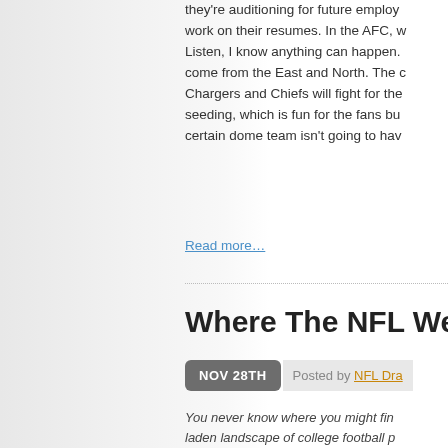they're auditioning for future employ... work on their resumes. In the AFC, w... Listen, I know anything can happen. come from the East and North. The c... Chargers and Chiefs will fight for the seeding, which is fun for the fans bu... certain dome team isn't going to hav...
Read more…
Where The NFL Wee...
NOV 28TH   Posted by NFL Dra...
You never know where you might fin... laden landscape of college football p... at where the starting quarterbacks fo...
(6)-ACC
(5)-Pac 10
(4)-SEC
(4)-Big Ten